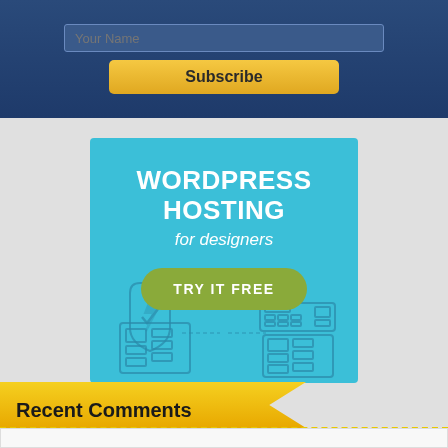[Figure (screenshot): Dark blue subscribe section with a 'Your Name' input field and a yellow 'Subscribe' button]
[Figure (infographic): Teal/cyan WordPress Hosting advertisement banner with bold white text 'WORDPRESS HOSTING for designers', a green 'TRY IT FREE' pill button, and outline icons of computers/devices on left and right sides]
Recent Comments